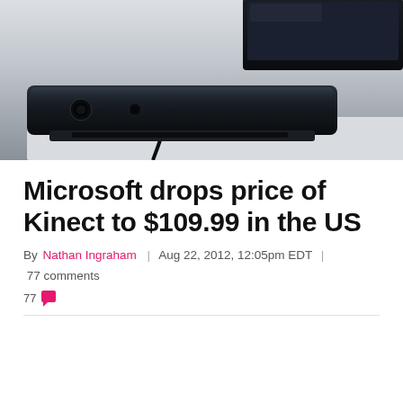[Figure (photo): Photo of a Kinect device (black motion sensor bar) sitting in front of a dark monitor/screen on a light surface]
Microsoft drops price of Kinect to $109.99 in the US
By Nathan Ingraham | Aug 22, 2012, 12:05pm EDT | 77 comments
77 [comment icon]